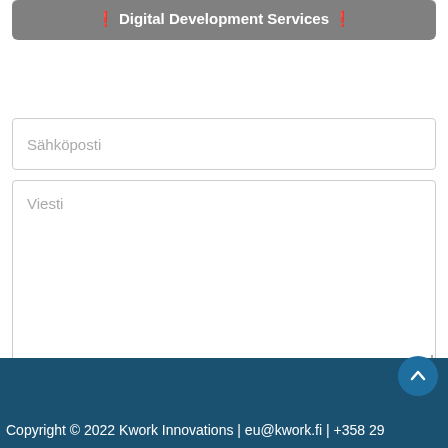🔲 Digital Development Services 🔲
Sähköposti
Viesti
✓ Lähetä viestisi meille
Copyright © 2022 Kwork Innovations | eu@kwork.fi | +358 29